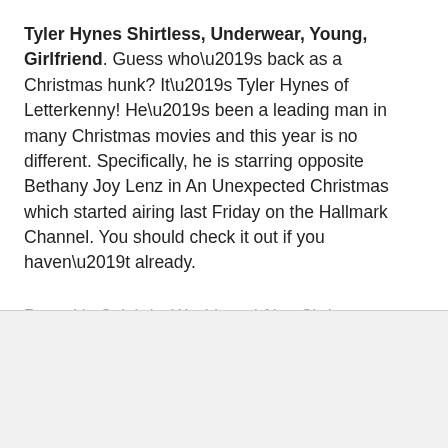Tyler Hynes Shirtless, Underwear, Young, Girlfriend. Guess who’s back as a Christmas hunk? It’s Tyler Hynes of Letterkenny! He’s been a leading man in many Christmas movies and this year is no different. Specifically, he is starring opposite Bethany Joy Lenz in An Unexpected Christmas which started airing last Friday on the Hallmark Channel. You should check it out if you haven’t already.
Posted in Celebrity Washboard Abs, Christmas Hunks, Hot Canadian Men